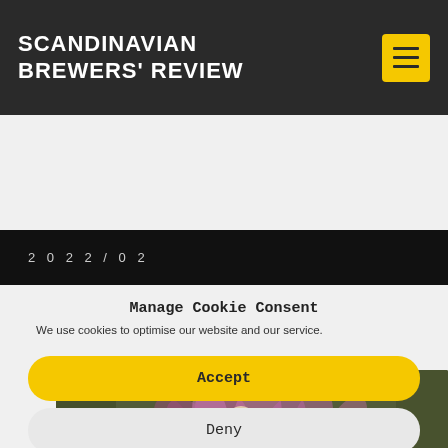SCANDINAVIAN BREWERS' REVIEW
2022/02
[Figure (photo): Close-up photo of purple/pink flowers with a yellowish-white center against a dark olive-green background]
Manage Cookie Consent
We use cookies to optimise our website and our service.
Accept
Deny